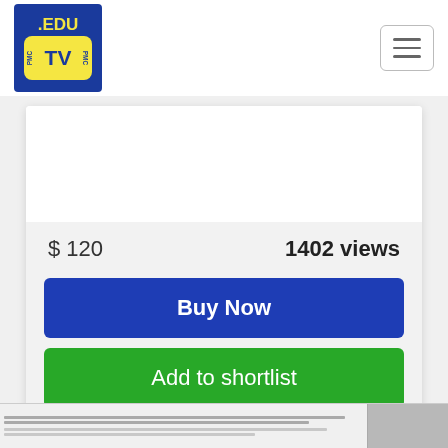[Figure (logo): .EDU TV PMC logo - blue background with yellow text]
[Figure (other): Hamburger menu button with three horizontal lines]
[Figure (other): White video placeholder area]
$ 120
1402 views
Buy Now
Add to shortlist
[Figure (screenshot): Partial screenshot of a software application at the bottom of the page]